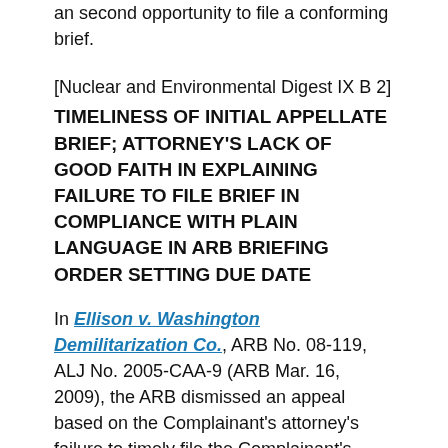an second opportunity to file a conforming brief.
[Nuclear and Environmental Digest IX B 2]
TIMELINESS OF INITIAL APPELLATE BRIEF; ATTORNEY'S LACK OF GOOD FAITH IN EXPLAINING FAILURE TO FILE BRIEF IN COMPLIANCE WITH PLAIN LANGUAGE IN ARB BRIEFING ORDER SETTING DUE DATE
In Ellison v. Washington Demilitarization Co., ARB No. 08-119, ALJ No. 2005-CAA-9 (ARB Mar. 16, 2009), the ARB dismissed an appeal based on the Complainant's attorney's failure to timely file the Complainant's initial brief, and because the attorney's "rationalization for his failure to timely file the brief was not proffered in good faith...." The attorney had submitted the brief with a service list that